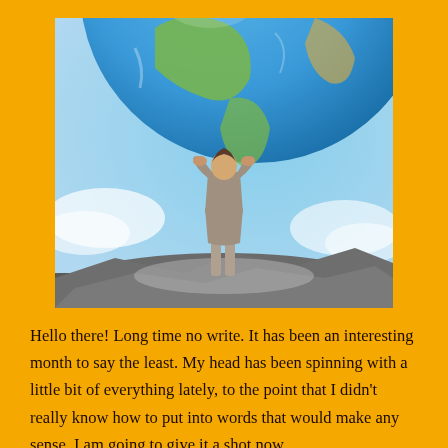[Figure (photo): A woman in a grey business suit standing on rocky terrain, holding up a large globe (Earth) on her shoulders/hands, against a blue sky background with clouds. The globe shows North and South America continents.]
Hello there! Long time no write. It has been an interesting month to say the least. My head has been spinning with a little bit of everything lately, to the point that I didn't really know how to put into words that would make any sense. I am going to give it a shot now.